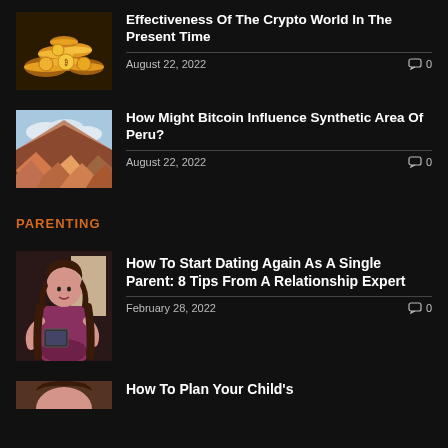[Figure (photo): Pile of gold/bitcoin coins]
Effectiveness Of The Crypto World In The Present Time
August 22, 2022   0
[Figure (photo): Colorful striped mountains landscape with clouds]
How Might Bitcoin Influence Synthetic Area Of Peru?
August 22, 2022   0
PARENTING
[Figure (photo): Woman sitting with a tablet, brown hair]
How To Start Dating Again As A Single Parent: 8 Tips From A Relationship Expert
February 28, 2022   0
[Figure (photo): Partial image - bottom of page]
How To Plan Your Child's